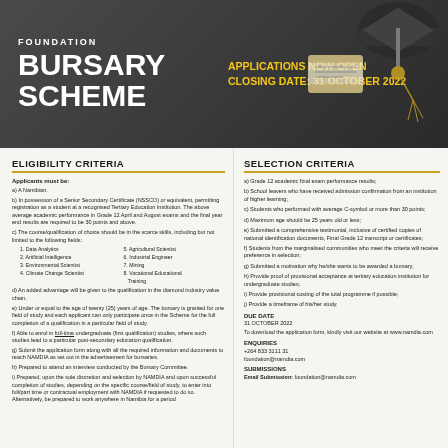FOUNDATION BURSARY SCHEME — APPLICATIONS NOW OPEN — CLOSING DATE: 31 OCTOBER 2022
ELIGIBILITY CRITERIA
Applicants must be:
a) A Namibian.
b) In possession of a Senior Secondary Certificate (NSSCO) or equivalent, permitting registration as a student at a recognised Tertiary Education Institution. The above average academic performance in Grade 12 April and August exams and the final year end results are required to be 30 points and above.
c) The course/qualification of choice should be in the scarce skills, including but not limited to the following fields:
1. Data Analytics  5. Agricultural Scientist
2. Artificial Intelligence  6. Industrial Engineer
3. Environmental Scientist  7. Mining
4. Climate Change Scientist  8. Vocational Educational Training
d) An added advantage will be given to the qualification in the diamond industry value chain.
e) Under or equal to the age of twenty (25) years of age. The bursary is granted for one field of study and each applicant can only participate once in the Scheme for the full completion of a qualification in a particular field of study.
f) Able to enrol in full-time undergraduate (first qualification) studies, where such studies lead to a particular post-secondary education qualification.
g) Submit the application form along with all the required information and documents to reach NAMDIA as set out in the advertisement for bursaries.
h) Prepared to attend an interview conducted by the Bursary Committee.
i) Prepared, upon the sole discretion and selection by NAMDIA and upon successful completion of studies, depending on the specific course/field of study, to enter into full/part time or contractual employment with NAMDIA if requested to do so. Alternatively, be prepared to work anywhere in Namibia for a period
SELECTION CRITERIA
a) Grade 12 academic final exam performance results;
b) School leavers who have received admission confirmation from an institution of higher learning;
c) Students who performed with average C-symbol or more than 30 points;
d) Maximum age should be 25 years old or less;
e) Submitted a comprehensive testimonial, inclusive of certified copies of national identification documents, Final Grade 12 transcript or certificates;
f) Students from the marginalised communities who meet the criteria will receive preference in selection;
g) Submitted a motivation why he/she wants to be awarded a bursary;
h) Provide proof of provisional acceptance at tertiary education institution for undergraduate studies;
i) Provide provisional costing of the total programme if possible;
j) Provide a timeframe of his/her study.
DUE DATE
31 OCTOBER 2022
To download the application form, kindly visit our website at www.namdia.com
ENQUIRIES
+264 833 3111 31
foundation@namdia.com
SUBMISSIONS
Email Submission: foundation@namdia.com